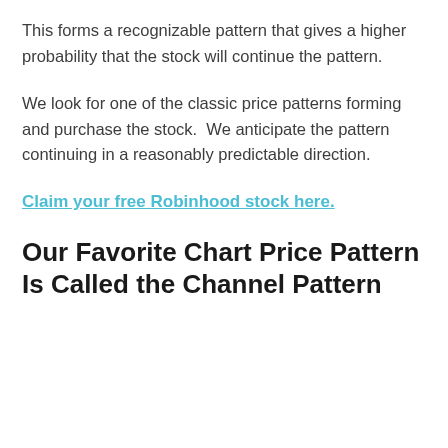This forms a recognizable pattern that gives a higher probability that the stock will continue the pattern.
We look for one of the classic price patterns forming and purchase the stock.  We anticipate the pattern continuing in a reasonably predictable direction.
Claim your free Robinhood stock here.
Our Favorite Chart Price Pattern Is Called the Channel Pattern